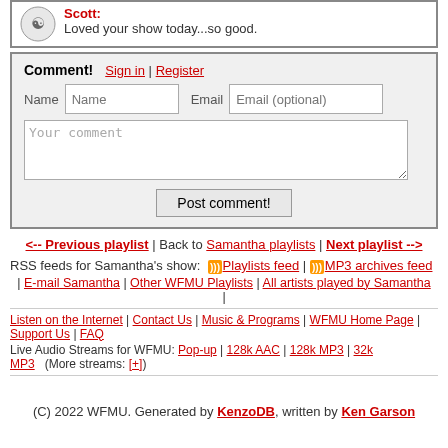Loved your show today...so good.
Comment! Sign in | Register
Name [Name] Email [Email (optional)]
Your comment
Post comment!
<-- Previous playlist | Back to Samantha playlists | Next playlist -->
RSS feeds for Samantha's show: Playlists feed | MP3 archives feed
| E-mail Samantha | Other WFMU Playlists | All artists played by Samantha |
Listen on the Internet | Contact Us | Music & Programs | WFMU Home Page | Support Us | FAQ
Live Audio Streams for WFMU: Pop-up | 128k AAC | 128k MP3 | 32k MP3   (More streams: [+])
(C) 2022 WFMU. Generated by KenzoDB, written by Ken Garson